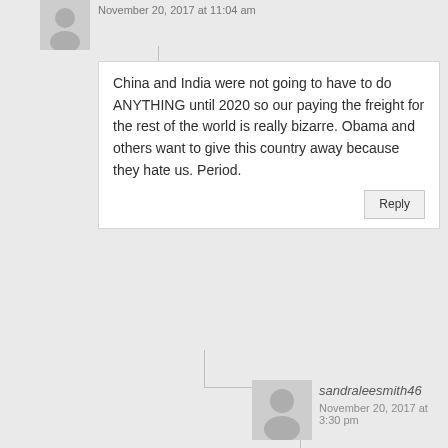November 20, 2017 at 11:04 am
China and India were not going to have to do ANYTHING until 2020 so our paying the freight for the rest of the world is really bizarre. Obama and others want to give this country away because they hate us. Period.
sandraleesmith46
November 20, 2017 at 3:30 pm
And THEN, they were only going to THINK about it; meanwhile the air in many Chinese and Indian cities is LITERALLY unbreathable without masks.
davesop
November 20, 2017 at 7:54 pm
Much like Pittsburgh in